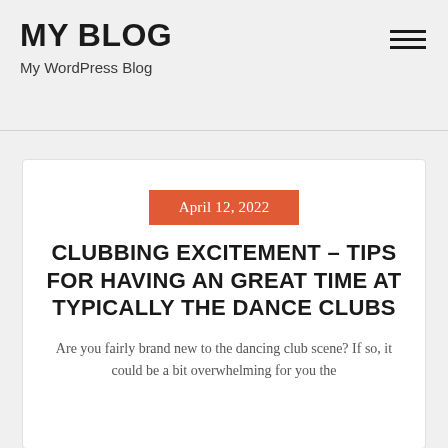MY BLOG
My WordPress Blog
April 12, 2022
CLUBBING EXCITEMENT – TIPS FOR HAVING AN GREAT TIME AT TYPICALLY THE DANCE CLUBS
Are you fairly brand new to the dancing club scene? If so, it could be a bit overwhelming for you the